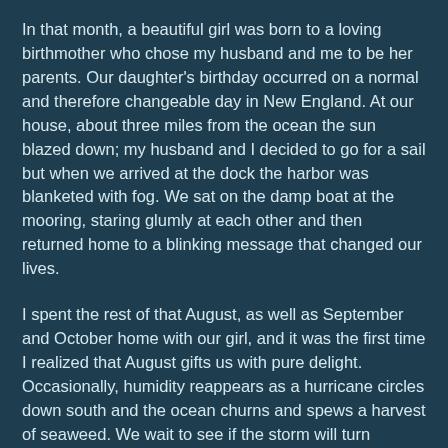In that month, a beautiful girl was born to a loving birthmother who chose my husband and me to be her parents. Our daughter's birthday occurred on a normal and therefore changeable day in New England. At our house, about three miles from the ocean the sun blazed down; my husband and I decided to go for a sail but when we arrived at the dock the harbor was blanketed with fog. We sat on the damp boat at the mooring, staring glumly at each other and then returned home to a blinking message that changed our lives.
I spent the rest of that August, as well as September and October home with our girl, and it was the first time I realized that August gifts us with pure delight. Occasionally, humidity reappears as a hurricane circles down south and the ocean churns and spews a harvest of seaweed. We wait to see if the storm will turn towards us, but it's been a long time since one has. Mostly, the air dries out, the nights blow fresh; we breathe deep and pull out the blankets as we crack the windows to one inch.
During the day the sun shines hot, but there is an edge--